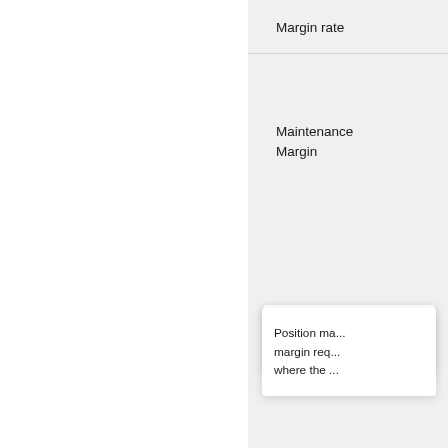Margin rate
Maintenance Margin
Position ma... margin req... where the ...
Maintenance M...
Underlying
BTC